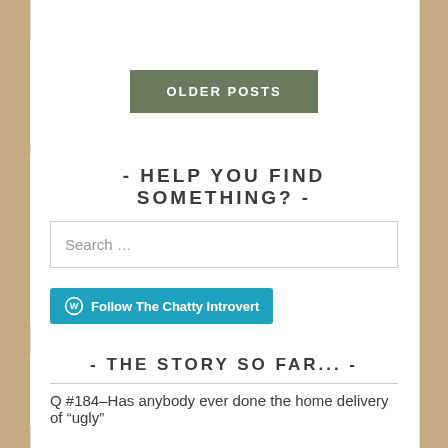OLDER POSTS
- HELP YOU FIND SOMETHING? -
Search ...
Follow The Chatty Introvert
- THE STORY SO FAR... -
Q #184–Has anybody ever done the home delivery of “ugly”